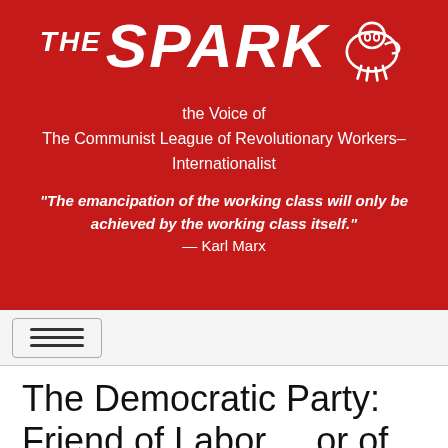[Figure (logo): The Spark newspaper masthead on red background with large italic 'THE SPARK' text and a white pig/fist icon]
the Voice of
The Communist League of Revolutionary Workers–Internationalist
"The emancipation of the working class will only be achieved by the working class itself." — Karl Marx
[Figure (other): Navigation bar with hamburger menu icon]
The Democratic Party: Friend of Labor ... or of the Bureaucrats?
Sep 30, 1993